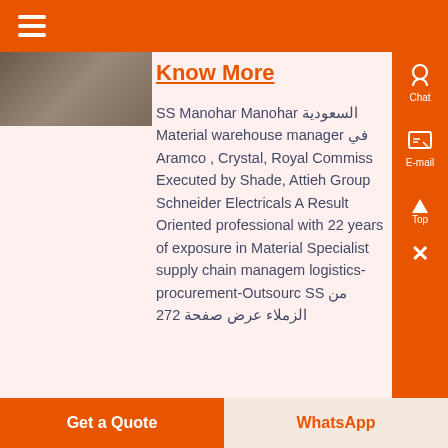≡ (hamburger menu)
[Figure (photo): Partial photo showing hands/person, cropped]
Know More
SS Manohar Manohar السعودية Material warehouse manager في Aramco , Crystal, Royal Commission Executed by Shade, Attieh Group Schneider Electricals A Result Oriented professional with 22 years of exposure in Material Specialist supply chain management logistics-procurement-Outsourcing SS من الزملاء عرض صفحة 272
Get a Quote | WhatsApp